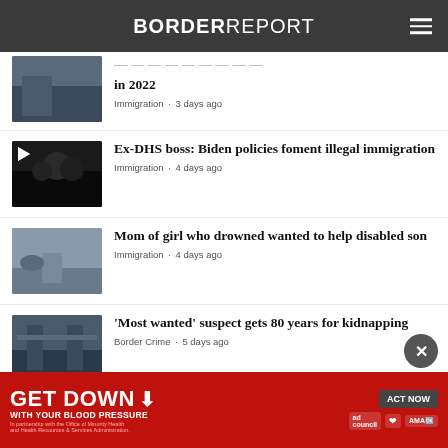BORDER REPORT
in 2022
Immigration · 3 days ago
Ex-DHS boss: Biden policies foment illegal immigration
Immigration · 4 days ago
Mom of girl who drowned wanted to help disabled son
Immigration · 4 days ago
'Most wanted' suspect gets 80 years for kidnapping
Border Crime · 5 days ago
View All Julian Resendiz ›
[Figure (screenshot): GET DOWN WITH YOUR BLOOD PRESSURE advertisement banner in red with ACT NOW button and ad council / AMA logos]